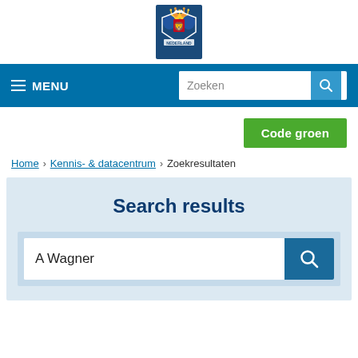[Figure (logo): Dutch government coat of arms logo on dark blue background]
≡ MENU | Zoeken [search bar]
Code groen
Home > Kennis- & datacentrum > Zoekresultaten
Search results
A Wagner [search input]